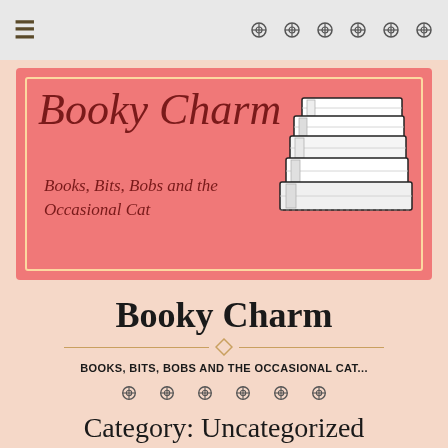≡  [navigation icons]
[Figure (illustration): Booky Charm blog banner with salmon/coral pink background, decorative border, cursive title 'Booky Charm' in dark red, subtitle 'Books, Bits, Bobs and the Occasional Cat' in italic, and a stack of books illustration on the right]
Booky Charm
BOOKS, BITS, BOBS AND THE OCCASIONAL CAT...
Category: Uncategorized